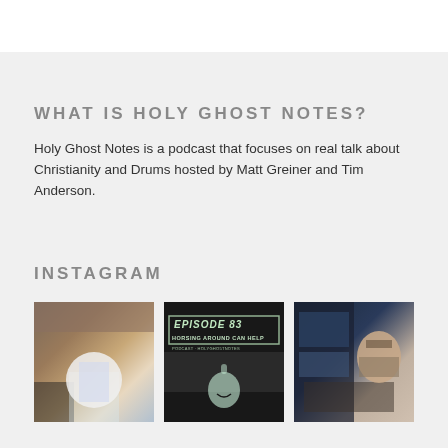WHAT IS HOLY GHOST NOTES?
Holy Ghost Notes is a podcast that focuses on real talk about Christianity and Drums hosted by Matt Greiner and Tim Anderson.
INSTAGRAM
[Figure (photo): Group photo of people at what appears to be a wedding, including a bride in white dress, taken in a barn-like setting]
[Figure (photo): Podcast episode graphic on dark background reading 'EPISODE 83 - HORSING AROUND CAN HELP' with a ghost logo]
[Figure (photo): Man with beard sitting at a laptop computer with screens visible in the background, working in what appears to be an airplane or studio]